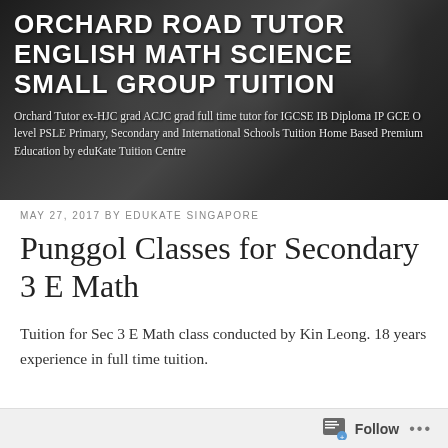[Figure (photo): Black and white photograph of students studying, used as header banner background]
ORCHARD ROAD TUTOR ENGLISH MATH SCIENCE SMALL GROUP TUITION
Orchard Tutor ex-HJC grad ACJC grad full time tutor for IGCSE IB Diploma IP GCE O level PSLE Primary, Secondary and International Schools Tuition Home Based Premium Education by eduKate Tuition Centre
MAY 27, 2017 BY EDUKATE SINGAPORE
Punggol Classes for Secondary 3 E Math
Tuition for Sec 3 E Math class conducted by Kin Leong. 18 years experience in full time tuition.